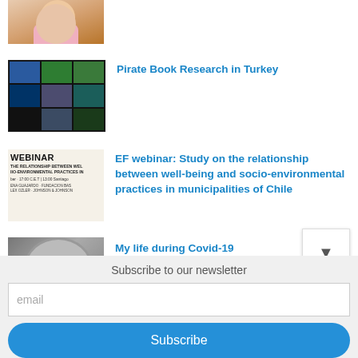[Figure (photo): Partial view of a person in pink clothing, cropped thumbnail]
Pirate Book Research in Turkey
[Figure (photo): Stained glass or colored glass panels in blue, green, and dark tones]
EF webinar: Study on the relationship between well-being and socio-environmental practices in municipalities of Chile
[Figure (photo): Webinar flyer showing WEBINAR text and details about relationship between well-being and environmental practices]
My life during Covid-19
[Figure (photo): Close-up face photo, partially visible]
Subscribe to our newsletter
email
Subscribe